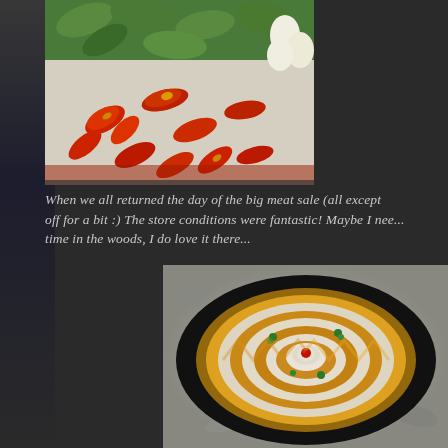[Figure (photo): Close-up photo of sliced dried red chili peppers and tomatoes with green basil leaves and white garlic cloves in the background]
When we all returned the day of the big meat sale (all except off for a bit :) The store conditions were fantastic! Maybe I nee... time in the woods, I do love it there...
[Figure (photo): A decorative platter of sliced American and white cheeses arranged in a circular pattern on a black plate, garnished with parsley and a red cherry tomato in the center]